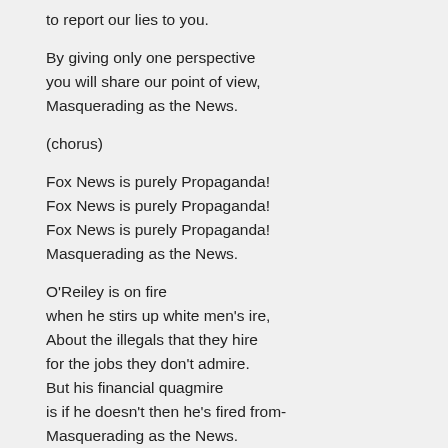to report our lies to you.
By giving only one perspective
you will share our point of view,
Masquerading as the News.
(chorus)
Fox News is purely Propaganda!
Fox News is purely Propaganda!
Fox News is purely Propaganda!
Masquerading as the News.
O'Reiley is on fire
when he stirs up white men's ire,
About the illegals that they hire
for the jobs they don't admire.
But his financial quagmire
is if he doesn't then he's fired from-
Masquerading as the News.